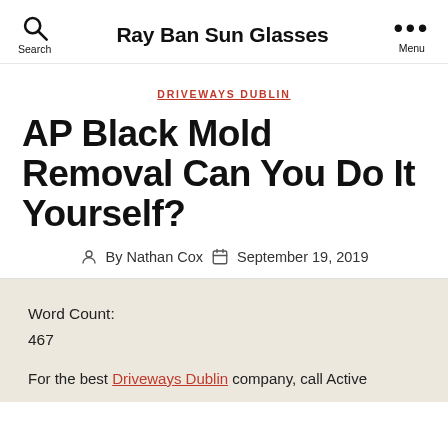Ray Ban Sun Glasses
DRIVEWAYS DUBLIN
AP Black Mold Removal Can You Do It Yourself?
By Nathan Cox  September 19, 2019
Word Count:
467
For the best Driveways Dublin company, call Active